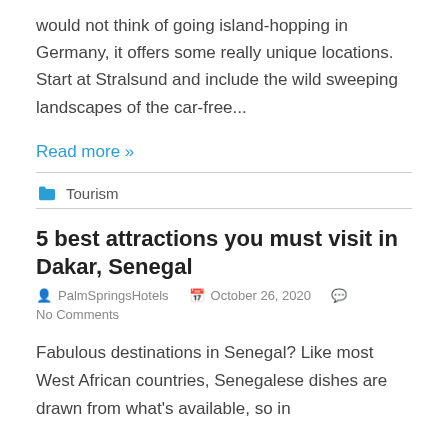would not think of going island-hopping in Germany, it offers some really unique locations. Start at Stralsund and include the wild sweeping landscapes of the car-free...
Read more »
Tourism
5 best attractions you must visit in Dakar, Senegal
PalmSpringsHotels   October 26, 2020   No Comments
Fabulous destinations in Senegal? Like most West African countries, Senegalese dishes are drawn from what's available, so in